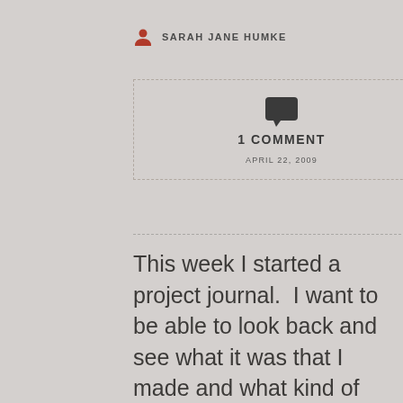SARAH JANE HUMKE
[Figure (infographic): Dashed-border box with a speech bubble comment icon, '1 COMMENT' text, and date 'APRIL 22, 2009']
This week I started a project journal.  I want to be able to look back and see what it was that I made and what kind of yarn it was and where this object ended-up.  Since nearly all of my projects are given away, this is a thing to track.  I have my “things I’ve ...